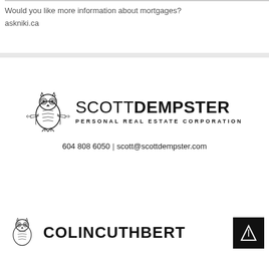Would you like more information about mortgages?
askniki.ca
[Figure (logo): Scott Dempster Personal Real Estate Corporation logo with owl illustration and text]
604 808 6050 | scott@scottdempster.com
[Figure (logo): Partial bottom logo with owl and text beginning COLIN CUTHBERT and an arrow icon in a black box]